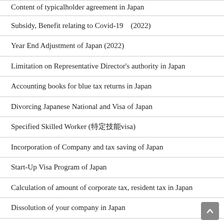Content of typicalholder agreement in Japan
Subsidy, Benefit relating to Covid-19　(2022)
Year End Adjustment of Japan (2022)
Limitation on Representative Director's authority in Japan
Accounting books for blue tax returns in Japan
Divorcing Japanese National and Visa of Japan
Specified Skilled Worker (特定技能visa)
Incorporation of Company and tax saving of Japan
Start-Up Visa Program of Japan
Calculation of amount of corporate tax, resident tax in Japan
Dissolution of your company in Japan
Covid-19 and loan from city office of Japan
Making Japanese Accounting Book